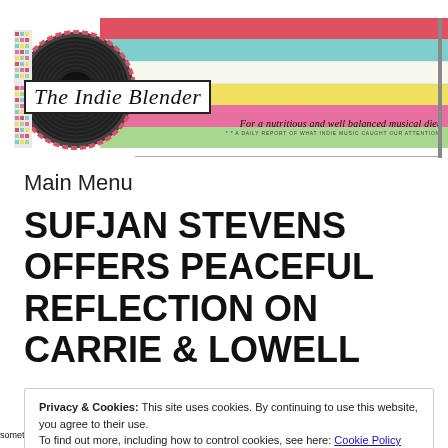[Figure (logo): The Indie Blender website header logo: vinyl record on left, colorful horizontal stripes (red, cyan, white, yellow, pink, green) on right, script text 'The Indie Blender' in a white bordered box, tagline 'For a nutritious and well balanced musical diet' and '* * A DAILY REPORT OF WHAT INDIE MUSIC CAUGHT OUR ATTENTION']
Main Menu
SUFJAN STEVENS OFFERS PEACEFUL REFLECTION ON CARRIE & LOWELL
Privacy & Cookies: This site uses cookies. By continuing to use this website, you agree to their use.
To find out more, including how to control cookies, see here: Cookie Policy
Close and accept
something. Nevertheless, when his albums become available it is inevitably one